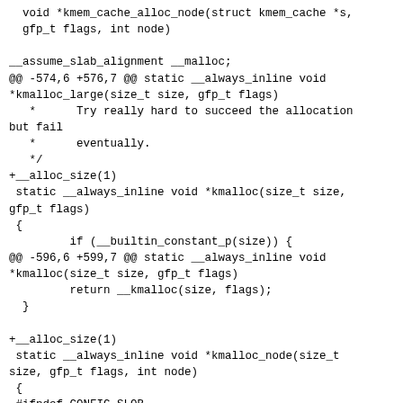void *kmem_cache_alloc_node(struct kmem_cache *s, gfp_t flags, int node)

__assume_slab_alignment __malloc;
@@ -574,6 +576,7 @@ static __always_inline void *kmalloc_large(size_t size, gfp_t flags)
   *      Try really hard to succeed the allocation but fail
   *      eventually.
   */
+__alloc_size(1)
 static __always_inline void *kmalloc(size_t size, gfp_t flags)
 {
         if (__builtin_constant_p(size)) {
@@ -596,6 +599,7 @@ static __always_inline void *kmalloc(size_t size, gfp_t flags)
         return __kmalloc(size, flags);
  }

+__alloc_size(1)
 static __always_inline void *kmalloc_node(size_t size, gfp_t flags, int node)
 {
 #ifndef CONFIG_SLOB
@@ -620,6 +624,7 @@ static __always_inline void *kmalloc_node(size_t size, gfp_t flags, int node)
   * @size: element size.
   * @flags: the type of memory to allocate (see kmalloc).